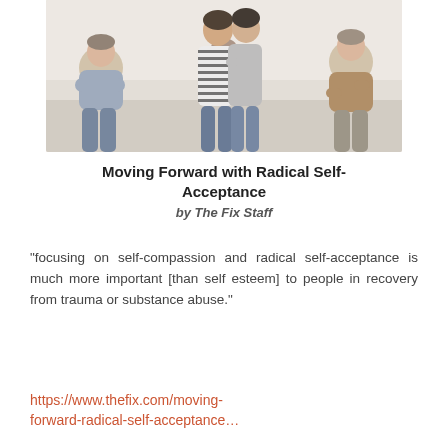[Figure (photo): Group therapy or support group scene: two women hugging in the foreground (one in a striped shirt, one in gray), while a man with crossed arms sits on the left and a man in a brown jacket sits on the right, with a woman in the middle background. All are in a bright, clinical setting.]
Moving Forward with Radical Self-Acceptance
by The Fix Staff
"focusing on self-compassion and radical self-acceptance is much more important [than self esteem] to people in recovery from trauma or substance abuse."
https://www.thefix.com/moving-forward-radical-self-acceptance…